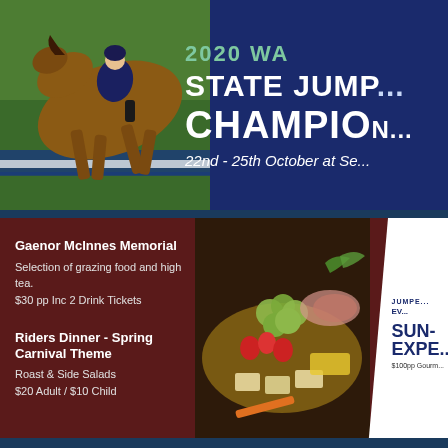[Figure (photo): Horse and rider jumping over a show jumping fence, with blue background. WA State Jumping Championships banner with year 2020.]
2020 WA STATE JUMPING CHAMPIONSHIPS
22nd - 25th October at Se...
[Figure (photo): Grazing platter with grapes, strawberries, crackers, cheese and meats for the Gaenor McInnes Memorial event.]
Gaenor McInnes Memorial
Selection of grazing food and high tea.
$30 pp Inc 2 Drink Tickets
Riders Dinner - Spring Carnival Theme
Roast & Side Salads
$20 Adult / $10 Child
JUMPE... EV...
SUN...
EXP...
$100pp Gourm...